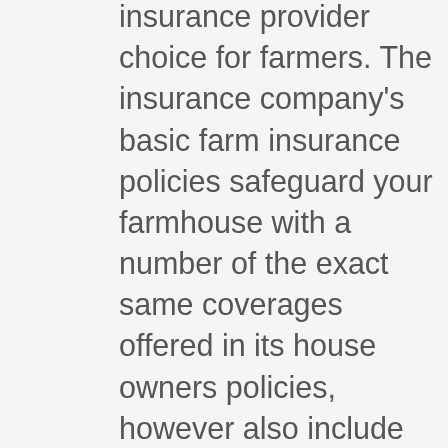insurance provider choice for farmers. The insurance company's basic farm insurance policies safeguard your farmhouse with a number of the exact same coverages offered in its house owners policies, however also include equipment breakdown, service line water and backup coverages. Farm owners can also pick from a choice of optional protections, to protect removed farm structures and livestock.
pros, This is an icon, Won the 2019 J.D. Power U.S. Independent Insurance Coverage Representative Fulfillment Award, This is an icon,